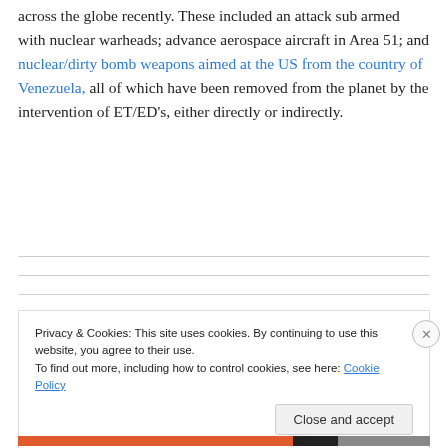across the globe recently. These included an attack sub armed with nuclear warheads; advance aerospace aircraft in Area 51; and nuclear/dirty bomb weapons aimed at the US from the country of Venezuela, all of which have been removed from the planet by the intervention of ET/ED's, either directly or indirectly.
Privacy & Cookies: This site uses cookies. By continuing to use this website, you agree to their use. To find out more, including how to control cookies, see here: Cookie Policy